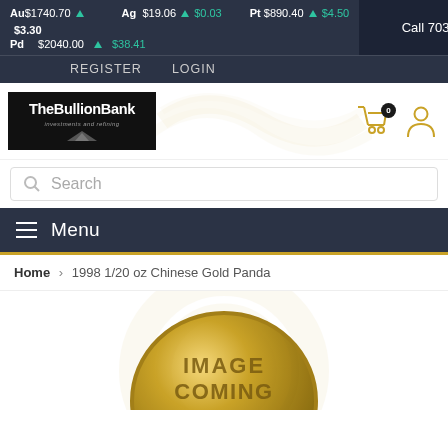Au $1740.70 ▲ $3.30 | Ag $19.06 ▲ $0.03 | Pt $890.40 ▲ $4.50 | Pd $2040.00 ▲ $38.41 | Call 703-772-1528
REGISTER LOGIN
[Figure (logo): The Bullion Bank - Investments and Refining logo, white text on black background]
[Figure (infographic): Shopping cart icon with badge showing 0, and user account icon]
Search
Menu
Home > 1998 1/20 oz Chinese Gold Panda
[Figure (photo): Gold coin placeholder showing 'IMAGE COMING' text on a gold circular coin background]